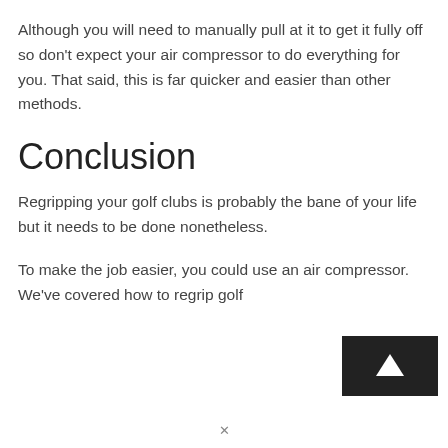Although you will need to manually pull at it to get it fully off so don't expect your air compressor to do everything for you. That said, this is far quicker and easier than other methods.
Conclusion
Regripping your golf clubs is probably the bane of your life but it needs to be done nonetheless.
To make the job easier, you could use an air compressor. We've covered how to regrip golf